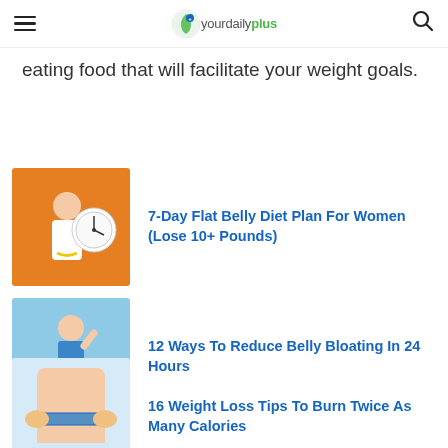yourdailyplus
eating food that will facilitate your weight goals.
[Figure (photo): Woman in white shirt holding a clock against orange background]
7-Day Flat Belly Diet Plan For Women (Lose 10+ Pounds)
[Figure (photo): Woman in blue sports bra posing outdoors]
12 Ways To Reduce Belly Bloating In 24 Hours
[Figure (photo): Person measuring waist with blue tape measure]
16 Weight Loss Tips To Burn Twice As Many Calories